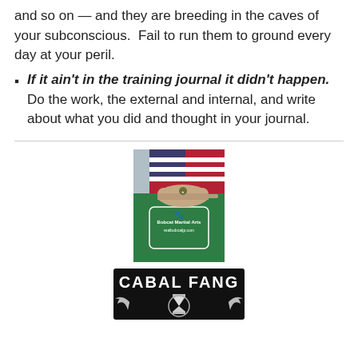and so on — and they are breeding in the caves of your subconscious.  Fail to run them to ground every day at your peril.
If it ain't in the training journal it didn't happen.  Do the work, the external and internal, and write about what you did and thought in your journal.
[Figure (photo): A green Bobcat Martial Arts t-shirt and a tan cap with an American flag in the background.]
[Figure (logo): Cabal Fang logo with text 'CABAL FANG' and wing/hourglass emblem on black background.]